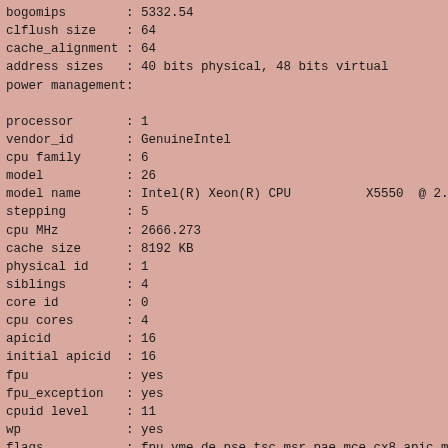bogomips       : 5332.54
clflush size   : 64
cache_alignment : 64
address sizes  : 40 bits physical, 48 bits virtual
power management:

processor      : 1
vendor_id      : GenuineIntel
cpu family     : 6
model          : 26
model name     : Intel(R) Xeon(R) CPU          X5550  @ 2.6
stepping       : 5
cpu MHz        : 2666.273
cache size     : 8192 KB
physical id    : 1
siblings       : 4
core id        : 0
cpu cores      : 4
apicid         : 16
initial apicid : 16
fpu            : yes
fpu_exception  : yes
cpuid level    : 11
wp             : yes
flags          : fpu vme de pse tsc msr pae mce cx8 apic mtr
bogomips       : 5331.91
clflush size   : 64
cache_alignment : 64
address sizes  : 40 bits physical, 48 bits virtual
power management:

processor      : 2
vendor_id      : GenuineIntel